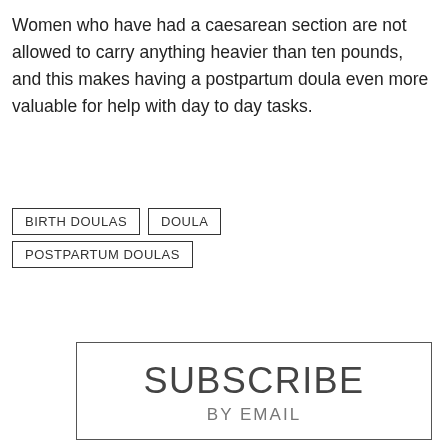Women who have had a caesarean section are not allowed to carry anything heavier than ten pounds, and this makes having a postpartum doula even more valuable for help with day to day tasks.
BIRTH DOULAS
DOULA
POSTPARTUM DOULAS
SUBSCRIBE BY EMAIL